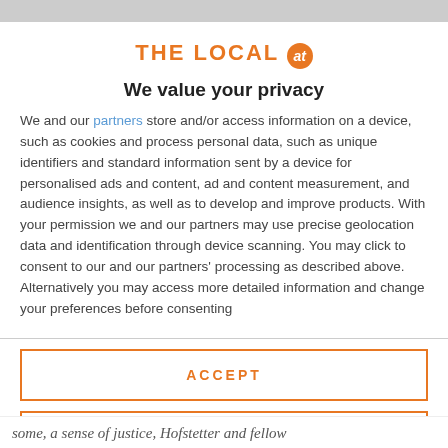THE LOCAL at
We value your privacy
We and our partners store and/or access information on a device, such as cookies and process personal data, such as unique identifiers and standard information sent by a device for personalised ads and content, ad and content measurement, and audience insights, as well as to develop and improve products. With your permission we and our partners may use precise geolocation data and identification through device scanning. You may click to consent to our and our partners' processing as described above. Alternatively you may access more detailed information and change your preferences before consenting
ACCEPT
MORE OPTIONS
some, a sense of justice, Hofstetter and fellow